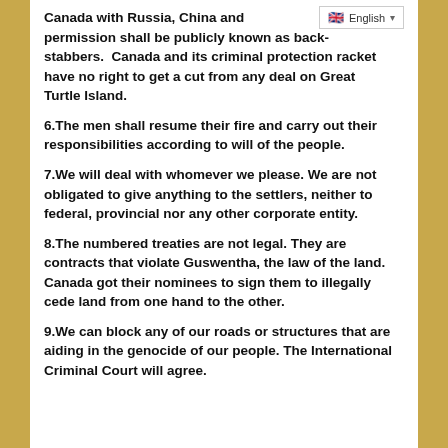Canada with Russia, China and [language bar] permission shall be publicly known as back-stabbers.  Canada and its criminal protection racket have no right to get a cut from any deal on Great Turtle Island.
6.The men shall resume their fire and carry out their responsibilities according to will of the people.
7.We will deal with whomever we please. We are not obligated to give anything to the settlers, neither to federal, provincial nor any other corporate entity.
8.The numbered treaties are not legal. They are contracts that violate Guswentha, the law of the land. Canada got their nominees to sign them to illegally cede land from one hand to the other.
9.We can block any of our roads or structures that are aiding in the genocide of our people. The International Criminal Court will agree.